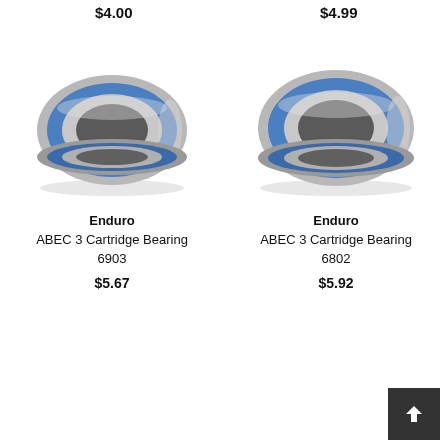$4.00
$4.99
[Figure (photo): Enduro ABEC 3 Cartridge Bearing 6903 — silver metal ring bearing with blue rubber seal, viewed at slight angle]
Enduro
ABEC 3 Cartridge Bearing
6903
$5.67
[Figure (photo): Enduro ABEC 3 Cartridge Bearing 6802 — silver metal ring bearing with blue rubber seal, viewed at slight angle, slightly larger than 6903]
Enduro
ABEC 3 Cartridge Bearing
6802
$5.92